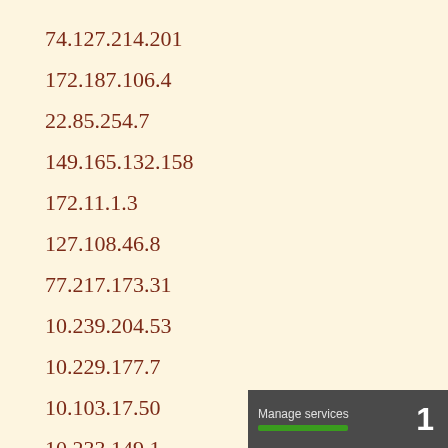74.127.214.201
172.187.106.4
22.85.254.7
149.165.132.158
172.11.1.3
127.108.46.8
77.217.173.31
10.239.204.53
10.229.177.7
10.103.17.50
10.233.149.1
Manage services 1